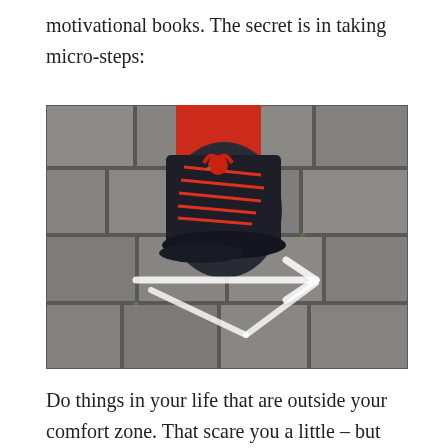motivational books. The secret is in taking micro-steps:
[Figure (photo): Overhead view of a shoe (sneaker with red laces, dark body) stepping on cobblestone pavement. A white chalk arrow is drawn on the cobblestones pointing to the right/forward.]
Do things in your life that are outside your comfort zone. That scare you a little – but not so much that